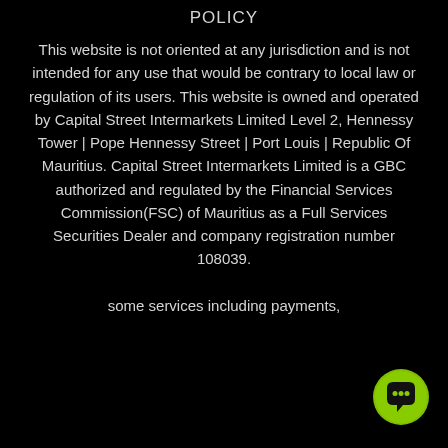POLICY
This website is not oriented at any jurisdiction and is not intended for any use that would be contrary to local law or regulation of its users. This website is owned and operated by Capital Street Intermarkets Limited Level 2, Hennessy Tower | Pope Hennessy Street | Port Louis | Republic Of Mauritius. Capital Street Intermarkets Limited is a GBC authorized and regulated by the Financial Services Commission(FSC) of Mauritius as a Full Services Securities Dealer and company registration number 108039. some services including payments,
[Figure (other): Green circular chat button with speech bubble icon in bottom right corner]